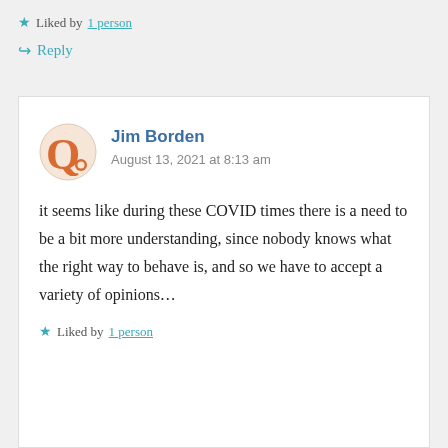★ Liked by 1 person
↪ Reply
Jim Borden
August 13, 2021 at 8:13 am
it seems like during these COVID times there is a need to be a bit more understanding, since nobody knows what the right way to behave is, and so we have to accept a variety of opinions…
★ Liked by 1 person